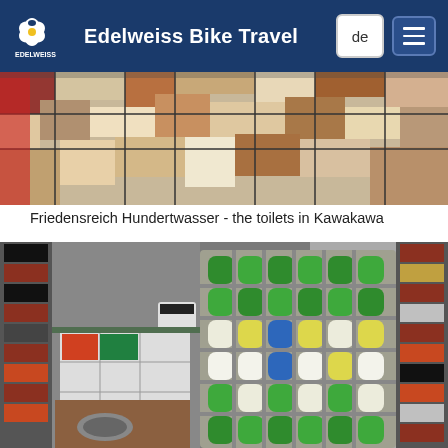Edelweiss Bike Travel
[Figure (photo): Interior photo of Hundertwasser toilets in Kawakawa showing colorful mosaic tiles - top view]
Friedensreich Hundertwasser - the toilets in Kawakawa
[Figure (photo): Interior photo of Hundertwasser toilets in Kawakawa showing bottle wall with green, blue, and yellow glass bottles embedded in concrete, colorful tile pillars, and black-and-white checkered tiles]